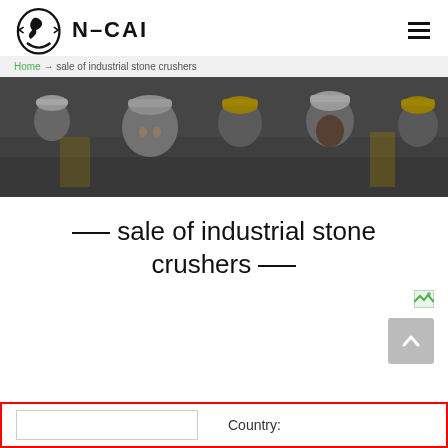[Figure (logo): N-CAI company logo with stylized emblem and bold N-CAI text]
Home → sale of industrial stone crushers
[Figure (photo): Group of construction workers wearing hard hats, smiling, industrial background]
sale of industrial stone crushers
[Figure (other): Small green broken-image icon in top right]
[Figure (other): Gray scroll-to-top button with upward arrow]
Country: